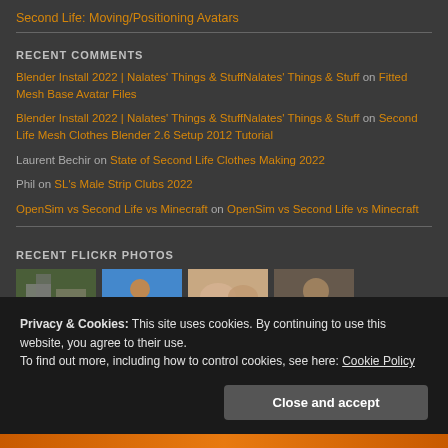Second Life: Moving/Positioning Avatars
RECENT COMMENTS
Blender Install 2022 | Nalates' Things & StuffNalates' Things & Stuff on Fitted Mesh Base Avatar Files
Blender Install 2022 | Nalates' Things & StuffNalates' Things & Stuff on Second Life Mesh Clothes Blender 2.6 Setup 2012 Tutorial
Laurent Bechir on State of Second Life Clothes Making 2022
Phil on SL's Male Strip Clubs 2022
OpenSim vs Second Life vs Minecraft on OpenSim vs Second Life vs Minecraft
RECENT FLICKR PHOTOS
[Figure (photo): Four recent Flickr photos shown as thumbnails in a horizontal row]
Privacy & Cookies: This site uses cookies. By continuing to use this website, you agree to their use. To find out more, including how to control cookies, see here: Cookie Policy
Close and accept